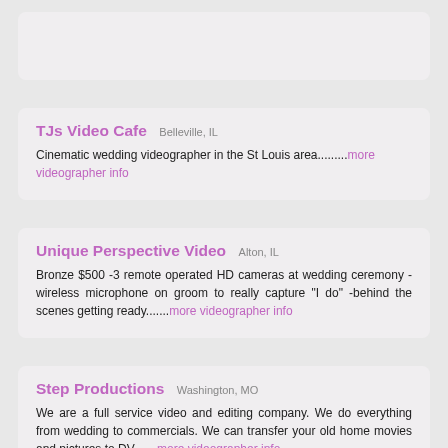TJs Video Cafe  Belleville, IL
Cinematic wedding videographer in the St Louis area.........more videographer info
Unique Perspective Video  Alton, IL
Bronze $500 -3 remote operated HD cameras at wedding ceremony - wireless microphone on groom to really capture "I do" -behind the scenes getting ready.......more videographer info
Step Productions  Washington, MO
We are a full service video and editing company. We do everything from wedding to commercials. We can transfer your old home movies and pictures to DV.......more videographer info